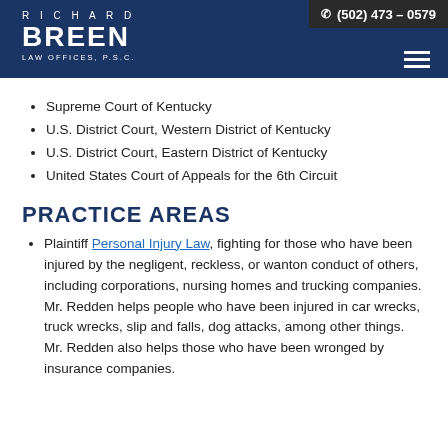Richard Breen Law Offices, P.S.C. | (502) 473 – 0579
Supreme Court of Kentucky
U.S. District Court, Western District of Kentucky
U.S. District Court, Eastern District of Kentucky
United States Court of Appeals for the 6th Circuit
PRACTICE AREAS
Plaintiff Personal Injury Law, fighting for those who have been injured by the negligent, reckless, or wanton conduct of others, including corporations, nursing homes and trucking companies. Mr. Redden helps people who have been injured in car wrecks, truck wrecks, slip and falls, dog attacks, among other things. Mr. Redden also helps those who have been wronged by insurance companies.